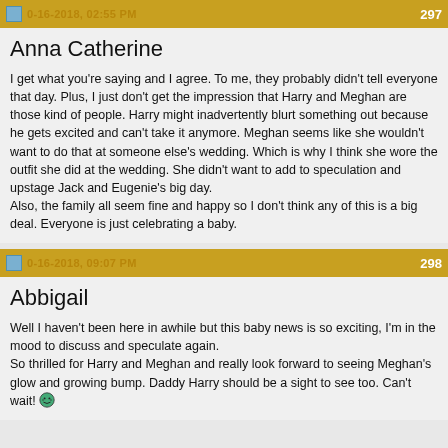0-16-2018, 02:55 PM | 297
Anna Catherine
I get what you're saying and I agree. To me, they probably didn't tell everyone that day. Plus, I just don't get the impression that Harry and Meghan are those kind of people. Harry might inadvertently blurt something out because he gets excited and can't take it anymore. Meghan seems like she wouldn't want to do that at someone else's wedding. Which is why I think she wore the outfit she did at the wedding. She didn't want to add to speculation and upstage Jack and Eugenie's big day.
Also, the family all seem fine and happy so I don't think any of this is a big deal. Everyone is just celebrating a baby.
0-16-2018, 09:07 PM | 298
Abbigail
Well I haven't been here in awhile but this baby news is so exciting, I'm in the mood to discuss and speculate again.
So thrilled for Harry and Meghan and really look forward to seeing Meghan's glow and growing bump. Daddy Harry should be a sight to see too. Can't wait! 😀